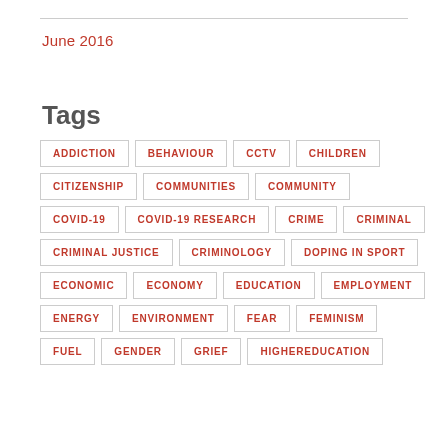June 2016
Tags
ADDICTION
BEHAVIOUR
CCTV
CHILDREN
CITIZENSHIP
COMMUNITIES
COMMUNITY
COVID-19
COVID-19 RESEARCH
CRIME
CRIMINAL
CRIMINAL JUSTICE
CRIMINOLOGY
DOPING IN SPORT
ECONOMIC
ECONOMY
EDUCATION
EMPLOYMENT
ENERGY
ENVIRONMENT
FEAR
FEMINISM
FUEL
GENDER
GRIEF
HIGHEREDUCATION